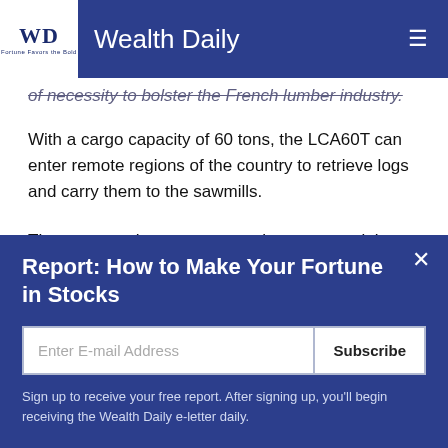Wealth Daily
of necessity to bolster the French lumber industry.
With a cargo capacity of 60 tons, the LCA60T can enter remote regions of the country to retrieve logs and carry them to the sawmills.
The company hopes to carry other commercial equipment, like shipping containers and wind turbine blades.
For the consumers of air/in travel... Jeff Bezos literally
Report: How to Make Your Fortune in Stocks
Enter E-mail Address
Subscribe
Sign up to receive your free report. After signing up, you'll begin receiving the Wealth Daily e-letter daily.